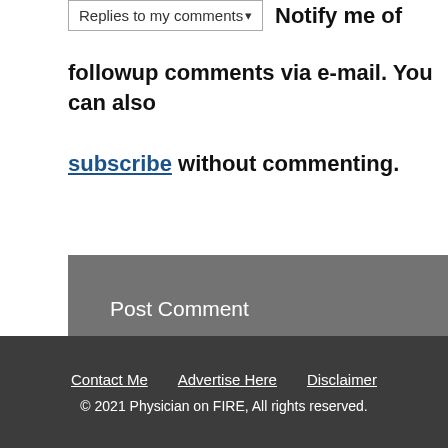Notify me of followup comments via e-mail. You can also subscribe without commenting.
Post Comment
Contact Me   Advertise Here   Disclaimer
© 2021 Physician on FIRE, All rights reserved.